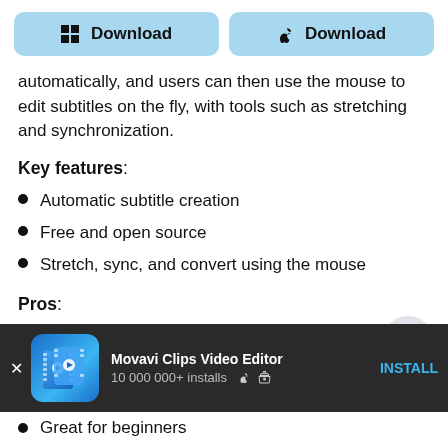[Figure (other): Two download buttons side by side: Windows Download and Apple Download, both with light blue rounded rectangle background]
automatically, and users can then use the mouse to edit subtitles on the fly, with tools such as stretching and synchronization.
Key features:
Automatic subtitle creation
Free and open source
Stretch, sync, and convert using the mouse
Pros:
[Figure (other): Advertisement banner for Movavi Clips Video Editor showing app icon, title, '10 000 000+ installs' with Apple and Android icons, and an INSTALL button]
Great for beginners